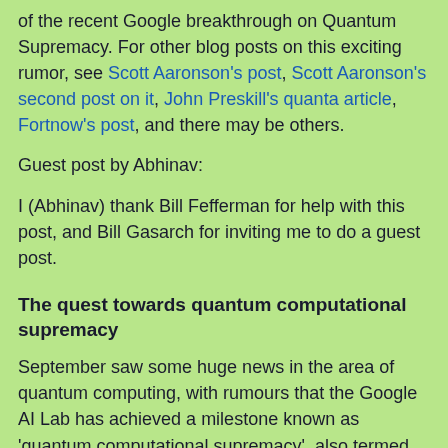of the recent Google breakthrough on Quantum Supremacy. For other blog posts on this exciting rumor, see Scott Aaronson's post, Scott Aaronson's second post on it, John Preskill's quanta article, Fortnow's post, and there may be others.
Guest post by Abhinav:
I (Abhinav) thank Bill Fefferman for help with this post, and Bill Gasarch for inviting me to do a guest post.
The quest towards quantum computational supremacy
September saw some huge news in the area of quantum computing, with rumours that the Google AI Lab has achieved a milestone known as 'quantum computational supremacy', also termed 'quantum supremacy' or 'quantum advantage' by some authors. Today, we examine what this term means, the most promising approach towards achieving this milestone, and the best complexity-theoretic evidence we have so far against classical simulability of